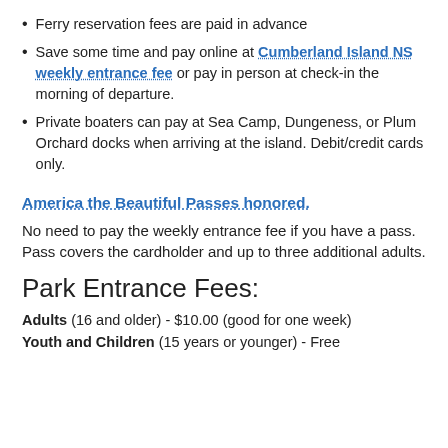Ferry reservation fees are paid in advance
Save some time and pay online at Cumberland Island NS weekly entrance fee or pay in person at check-in the morning of departure.
Private boaters can pay at Sea Camp, Dungeness, or Plum Orchard docks when arriving at the island. Debit/credit cards only.
America the Beautiful Passes honored.
No need to pay the weekly entrance fee if you have a pass. Pass covers the cardholder and up to three additional adults.
Park Entrance Fees:
Adults (16 and older) - $10.00 (good for one week)
Youth and Children (15 years or younger) - Free